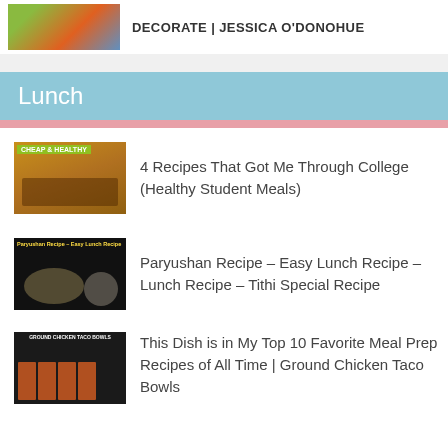[Figure (photo): Thumbnail image with food and people]
DECORATE | JESSICA O'DONOHUE
Lunch
[Figure (photo): Cheap & Healthy food thumbnail]
4 Recipes That Got Me Through College (Healthy Student Meals)
[Figure (photo): Paryushan Recipe - Easy Lunch Recipe thumbnail]
Paryushan Recipe – Easy Lunch Recipe – Lunch Recipe – Tithi Special Recipe
[Figure (photo): Ground Chicken Taco Bowls meal prep thumbnail]
This Dish is in My Top 10 Favorite Meal Prep Recipes of All Time | Ground Chicken Taco Bowls